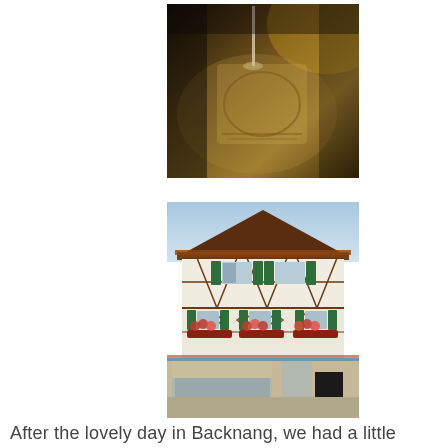[Figure (photo): Close-up photo of a decorative paper or cloth with an illustrated label/emblem, with a wine glass stem visible in the background under warm lighting]
[Figure (photo): Photo of a traditional German half-timbered building (Fachwerkhaus) facade with green shutters, flower boxes with red geraniums, decorative woodwork, and a shop at street level]
After the lovely day in Backnang, we had a little